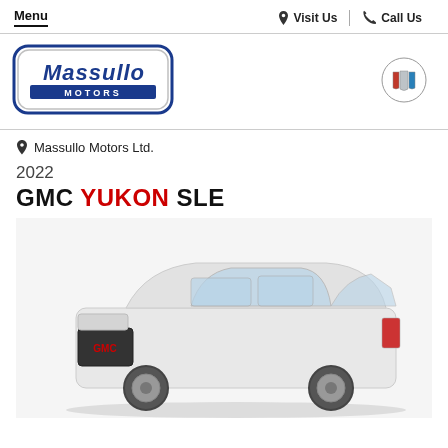Menu  Visit Us  Call Us
[Figure (logo): Massullo Motors dealer logo — stylized script 'Massullo' in blue with 'MOTORS' below, chrome/shadow effect]
[Figure (logo): Buick tricolor logo — circular emblem with three shields]
Massullo Motors Ltd.
2022 GMC YUKON SLE
[Figure (photo): 2022 GMC Yukon SLE white SUV, three-quarter front view on white background]